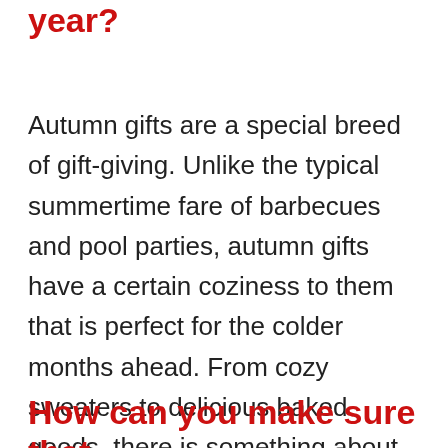year?
Autumn gifts are a special breed of gift-giving. Unlike the typical summertime fare of barbecues and pool parties, autumn gifts have a certain coziness to them that is perfect for the colder months ahead. From cozy sweaters to delicious baked goods, there is something about autumn gifts that just feels right.
How can you make sure that